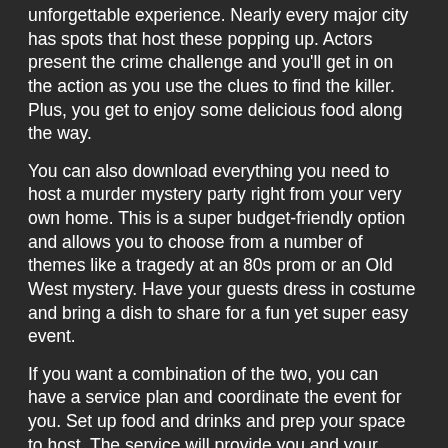unforgettable experience. Nearly every major city has spots that host these popping up. Actors present the crime challenge and you'll get in on the action as you use the clues to find the killer. Plus, you get to enjoy some delicious food along the way.
You can also download everything you need to host a murder mystery party right from your very own home. This is a super budget-friendly option and allows you to choose from a number of themes like a tragedy at an 80s prom or an Old West mystery. Have your guests dress in costume and bring a dish to share for a fun yet super easy event.
If you want a combination of the two, you can have a service plan and coordinate the event for you. Set up food and drinks and prep your space to host. The service will provide you and your guests with the roles you will play...one of you being the murderer. Use the clues and work together to eliminate suspects and solve the crime!